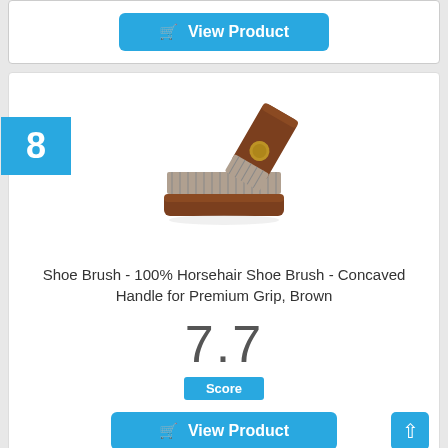[Figure (screenshot): View Product button with shopping cart icon on blue background (top card)]
8
[Figure (photo): Photo of a shoe brush - 100% horsehair shoe brush with concaved wooden handle in brown color, showing brush bristles and handle at an angle]
Shoe Brush - 100% Horsehair Shoe Brush - Concaved Handle for Premium Grip, Brown
7.7
Score
[Figure (screenshot): View Product button with shopping cart icon on blue background (bottom)]